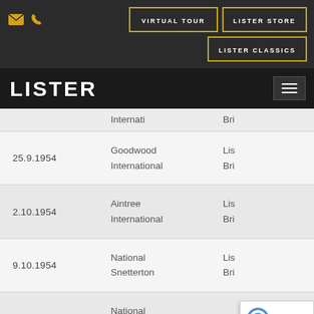VIRTUAL TOUR | LISTER STORE | LISTER CLASSICS
[Figure (logo): LISTER brand logo in white text on dark background, with hamburger menu icon]
| Date | Event | Result |
| --- | --- | --- |
|  | Internati | Bri |
| 25.9.1954 | Goodwood International | Lis Bri |
| 2.10.1954 | Aintree International | Lis Bri |
| 9.10.1954 | National Snetterton | Lis Bri |
| 26.3.1955 | National Snetterton | Bri |